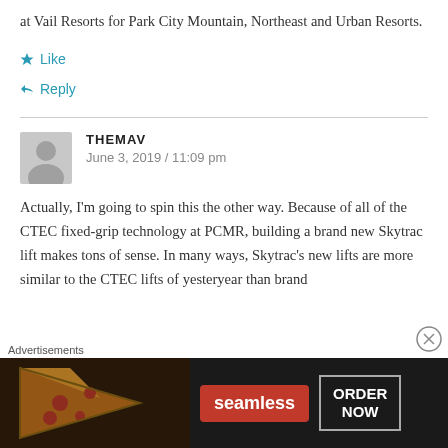at Vail Resorts for Park City Mountain, Northeast and Urban Resorts.
Like
Reply
THEMAV
June 3, 2019 / 11:09 pm
Actually, I'm going to spin this the other way. Because of all of the CTEC fixed-grip technology at PCMR, building a brand new Skytrac lift makes tons of sense. In many ways, Skytrac's new lifts are more similar to the CTEC lifts of yesteryear than brand
Advertisements